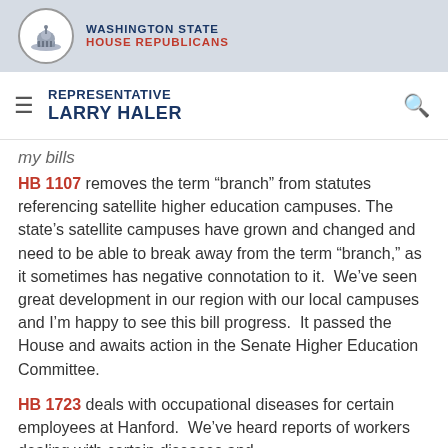WASHINGTON STATE HOUSE REPUBLICANS
REPRESENTATIVE LARRY HALER
My Bills
HB 1107 removes the term “branch” from statutes referencing satellite higher education campuses. The state’s satellite campuses have grown and changed and need to be able to break away from the term “branch,” as it sometimes has negative connotation to it. We’ve seen great development in our region with our local campuses and I’m happy to see this bill progress. It passed the House and awaits action in the Senate Higher Education Committee.
HB 1723 deals with occupational diseases for certain employees at Hanford. We’ve heard reports of workers dealing with certain diseases and